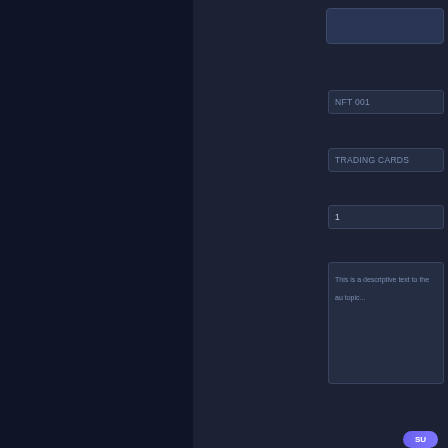[Figure (screenshot): Dark navy left panel of a web UI, approximately 193px wide, background color #0d1526]
[Figure (screenshot): Dark form UI panel showing input fields: a blue bar at top, then fields labeled NFT 001, TRADING CARDS, 1 (number), a textarea with descriptive placeholder text, and a blue Submit/Upload button at bottom right]
[Figure (screenshot): Purple/blue banner section below the dark form panel, transitioning to a white section. The banner shows an OpenSky logo (yellow icon + white OpenSky text) in the lower right area of the banner.]
[Figure (screenshot): White OpenSky website header/navbar showing the OpenSky logo on black background, then Explore and Categories nav links]
Create NFT
Create NFT
Create Your
This is a descriptive sub-header...